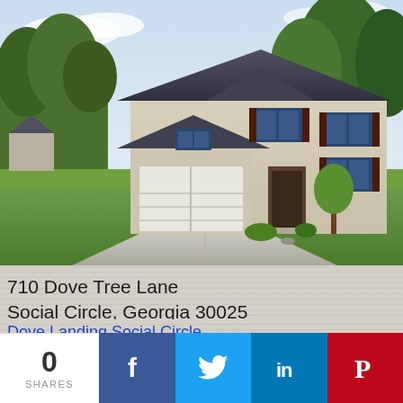[Figure (photo): Exterior front view of a two-story suburban home with beige siding, dark brown shutters, two-car garage, concrete driveway, and well-maintained green lawn. Trees visible in background.]
710 Dove Tree Lane
Social Circle, Georgia 30025
Dove Landing Social Circle
1,311 Sq.ft. (See Q...
0
SHARES